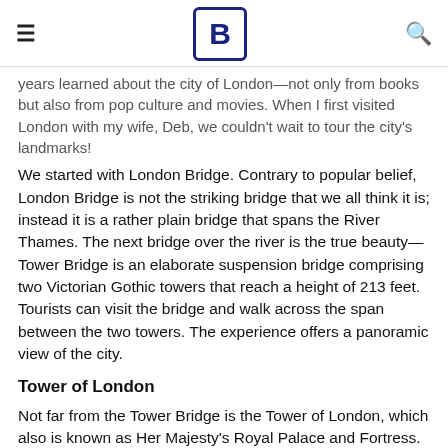≡  B  🔍
years learned about the city of London—not only from books but also from pop culture and movies. When I first visited London with my wife, Deb, we couldn't wait to tour the city's landmarks!
We started with London Bridge. Contrary to popular belief, London Bridge is not the striking bridge that we all think it is; instead it is a rather plain bridge that spans the River Thames. The next bridge over the river is the true beauty—Tower Bridge is an elaborate suspension bridge comprising two Victorian Gothic towers that reach a height of 213 feet. Tourists can visit the bridge and walk across the span between the two towers. The experience offers a panoramic view of the city.
Tower of London
Not far from the Tower Bridge is the Tower of London, which also is known as Her Majesty's Royal Palace and Fortress.